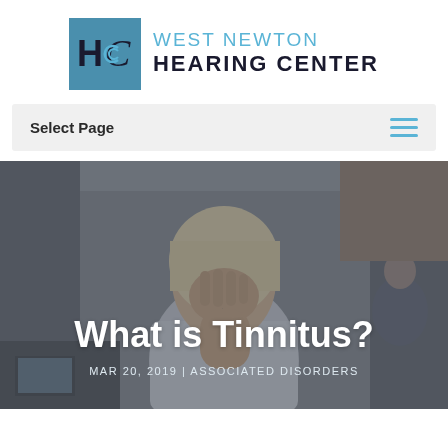[Figure (logo): West Newton Hearing Center logo with teal square containing HC letters and spiral icon, next to the text WEST NEWTON HEARING CENTER]
Select Page
[Figure (photo): Background photo of a middle-aged blonde woman in a white shirt pressing her hand to her face with eyes closed, appearing distressed, in an office setting with blurred background]
What is Tinnitus?
MAR 20, 2019 | ASSOCIATED DISORDERS